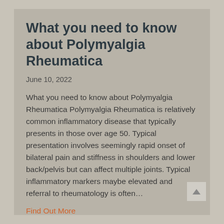What you need to know about Polymyalgia Rheumatica
June 10, 2022
What you need to know about Polymyalgia Rheumatica Polymyalgia Rheumatica is relatively common inflammatory disease that typically presents in those over age 50. Typical presentation involves seemingly rapid onset of bilateral pain and stiffness in shoulders and lower back/pelvis but can affect multiple joints. Typical inflammatory markers maybe elevated and referral to rheumatology is often…
Find Out More